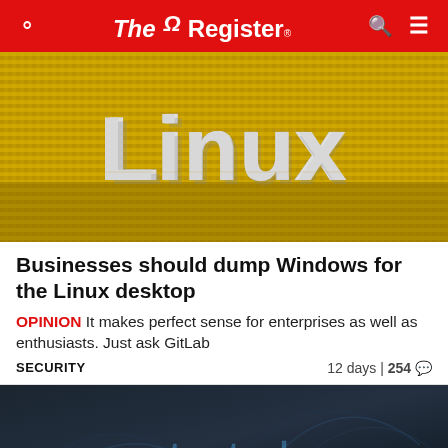The Register
[Figure (photo): 3D pixel-art style rendering of the word LINUX in white/grey block letters on a golden/yellow pixelated background]
Businesses should dump Windows for the Linux desktop
OPINION It makes perfect sense for enterprises as well as enthusiasts. Just ask GitLab
SECURITY	12 days | 254 💬
[Figure (photo): Dark moody image with text 'protected' visible in blue-tinted overlay, appears to be a security/cyber-themed photo]